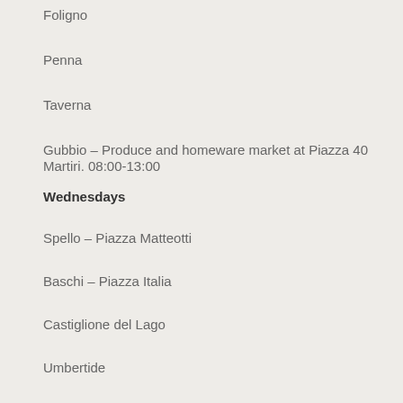Foligno
Penna
Taverna
Gubbio – Produce and homeware market at Piazza 40 Martiri. 08:00-13:00
Wednesdays
Spello – Piazza Matteotti
Baschi – Piazza Italia
Castiglione del Lago
Umbertide
Thursdays
Città di Castello